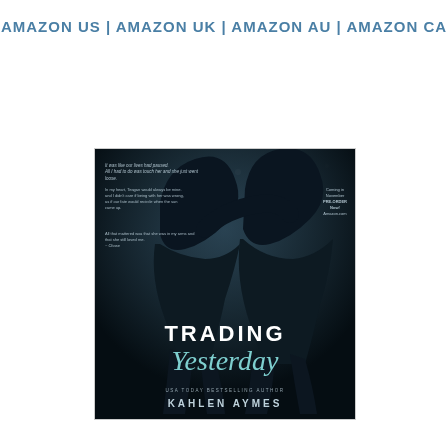AMAZON US | AMAZON UK | AMAZON AU | AMAZON CA
[Figure (illustration): Book cover for 'Trading Yesterday' by Kahlen Aymes. Dark background with silhouetted romantic figures, teal/bokeh sparkles. Title text 'TRADING Yesterday' and author name 'KAHLEN AYMES' with subtitle 'USA TODAY BESTSELLING AUTHOR'. Cover also contains quote text and 'Coming in November PRE-ORDER Now! Amazon.com'.]